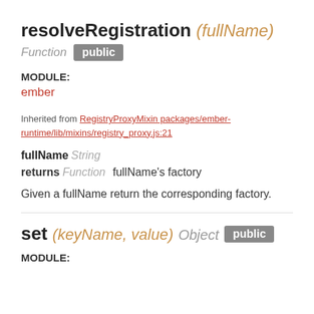resolveRegistration (fullName)
Function  public
MODULE:
ember
Inherited from RegistryProxyMixin packages/ember-runtime/lib/mixins/registry_proxy.js:21
fullName  String
returns  Function  fullName's factory
Given a fullName return the corresponding factory.
set (keyName, value) Object  public
MODULE: